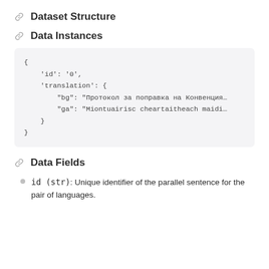Dataset Structure
Data Instances
{
    'id': '0',
    'translation': {
        "bg": "Протокол за поправка на Конвенция…
        "ga": "Miontuairisc cheartaitheach maidi…
    }
}
Data Fields
id (str): Unique identifier of the parallel sentence for the pair of languages.